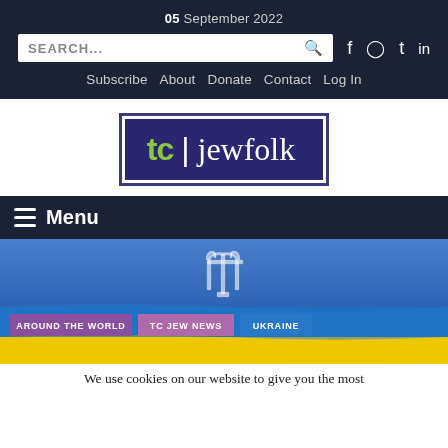05 September 2022
SEARCH...
Subscribe  About  Donate  Contact  Log In
[Figure (logo): tc | jewfolk logo with green 'tc' and white 'jewfolk' text on dark navy/purple background with border]
Menu
[Figure (photo): Ukrainian flag waving with trident symbol, blue sky background, with category tags: AROUND THE WORLD, TC JEW NEWS, UKRAINE]
We use cookies on our website to give you the most